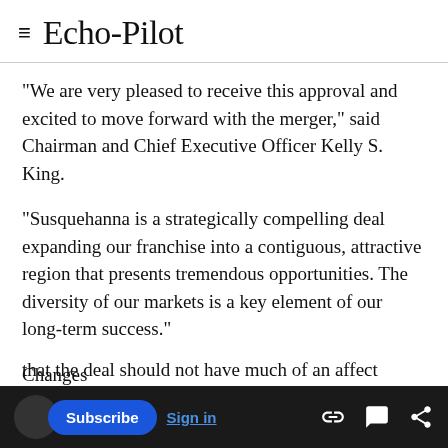Echo-Pilot
"We are very pleased to receive this approval and excited to move forward with the merger," said Chairman and Chief Executive Officer Kelly S. King.
"Susquehanna is a strategically compelling deal expanding our franchise into a contiguous, attractive region that presents tremendous opportunities. The diversity of our markets is a key element of our long-term success."
Changes
Stephen Trapnell, Susquehanna corporate
that the deal should not have much of an affect